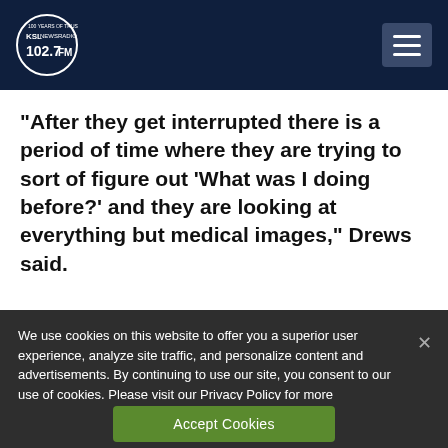KSL NewsRadio 102.7FM — 100 Years of Trust
“After they get interrupted there is a period of time where they are trying to sort of figure out ‘What was I doing before?’ and they are looking at everything but medical images,” Drews said.
We use cookies on this website to offer you a superior user experience, analyze site traffic, and personalize content and advertisements. By continuing to use our site, you consent to our use of cookies. Please visit our Privacy Policy for more information.
Accept Cookies